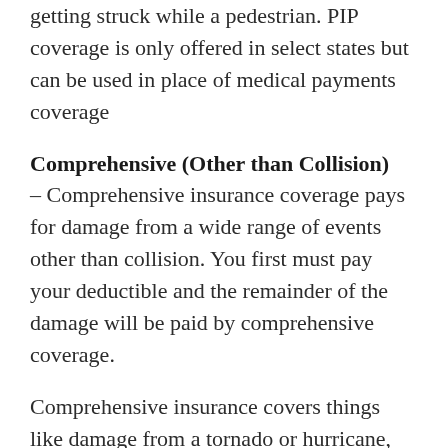getting struck while a pedestrian. PIP coverage is only offered in select states but can be used in place of medical payments coverage
Comprehensive (Other than Collision)
– Comprehensive insurance coverage pays for damage from a wide range of events other than collision. You first must pay your deductible and the remainder of the damage will be paid by comprehensive coverage.
Comprehensive insurance covers things like damage from a tornado or hurricane, damage from getting keyed,